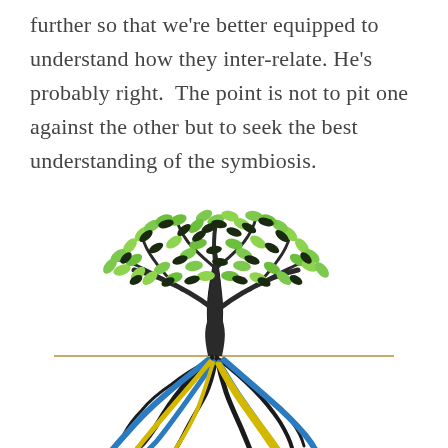further so that we're better equipped to understand how they inter-relate. He's probably right.  The point is not to pit one against the other but to seek the best understanding of the symbiosis.
[Figure (illustration): Illustration of a tree with green and dark leaves on branches, a brown trunk, and colorful roots (blue, yellow, black) spreading below a ground line.]